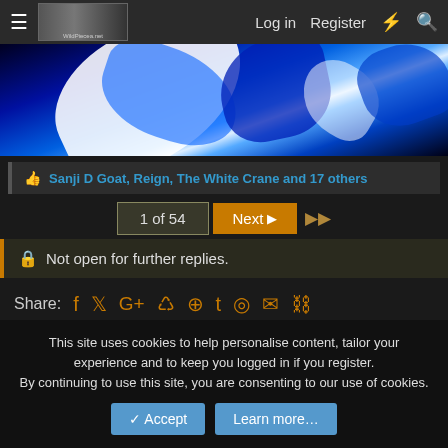≡  [logo]  Log in  Register  ⚡  🔍
[Figure (illustration): Blue and white swirling abstract banner image with bold blue and white flowing shapes on dark background]
👍 Sanji D Goat, Reign, The White Crane and 17 others
1 of 54  Next ▶  ▶▶
🔒 Not open for further replies.
Share:  f  𝕏  G+  reddit  P  t  WhatsApp  ✉  🔗
‹ Formerly Discussed Chapters
This site uses cookies to help personalise content, tailor your experience and to keep you logged in if you register.
By continuing to use this site, you are consenting to our use of cookies.
✓ Accept  Learn more…